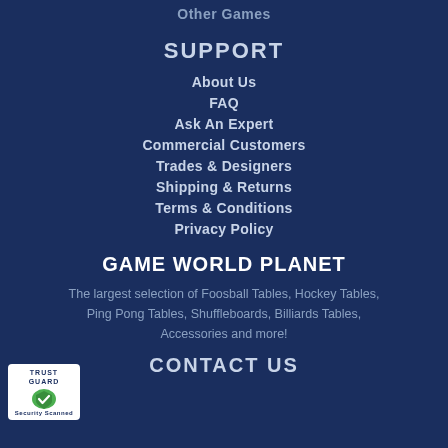Other Games
SUPPORT
About Us
FAQ
Ask An Expert
Commercial Customers
Trades & Designers
Shipping & Returns
Terms & Conditions
Privacy Policy
GAME WORLD PLANET
The largest selection of Foosball Tables, Hockey Tables, Ping Pong Tables, Shuffleboards, Billiards Tables, Accessories and more!
[Figure (logo): Trust Guard Security Scanned badge with shield logo]
CONTACT US